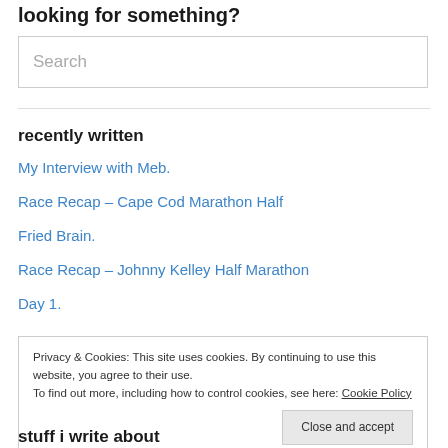looking for something?
[Figure (other): Search input box with placeholder text 'Search']
recently written
My Interview with Meb.
Race Recap – Cape Cod Marathon Half
Fried Brain.
Race Recap – Johnny Kelley Half Marathon
Day 1.
Privacy & Cookies: This site uses cookies. By continuing to use this website, you agree to their use. To find out more, including how to control cookies, see here: Cookie Policy
stuff i write about